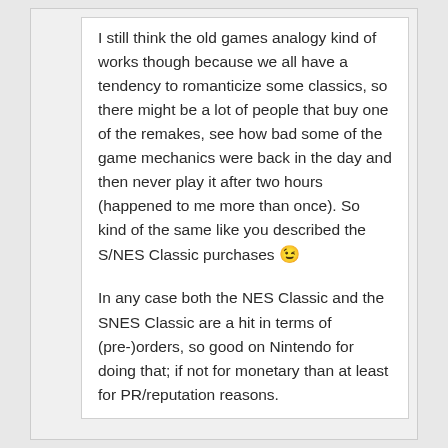I still think the old games analogy kind of works though because we all have a tendency to romanticize some classics, so there might be a lot of people that buy one of the remakes, see how bad some of the game mechanics were back in the day and then never play it after two hours (happened to me more than once). So kind of the same like you described the S/NES Classic purchases 😉
In any case both the NES Classic and the SNES Classic are a hit in terms of (pre-)orders, so good on Nintendo for doing that; if not for monetary than at least for PR/reputation reasons.